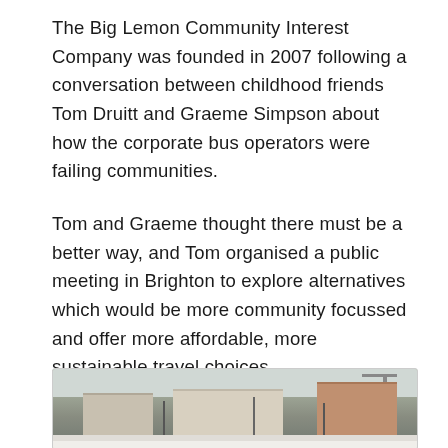The Big Lemon Community Interest Company was founded in 2007 following a conversation between childhood friends Tom Druitt and Graeme Simpson about how the corporate bus operators were failing communities.
Tom and Graeme thought there must be a better way, and Tom organised a public meeting in Brighton to explore alternatives which would be more community focussed and offer more affordable, more sustainable travel choices.
[Figure (photo): A winter street scene in Brighton showing buildings and bare trees, possibly with snow on the ground. Red-brick building visible on the right, a taller white/cream building in the centre, and construction crane visible in the background.]